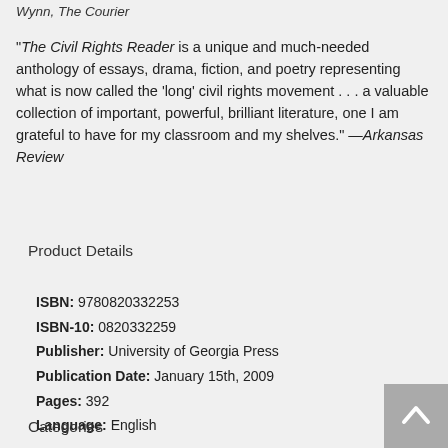Wynn, The Courier
"The Civil Rights Reader is a unique and much-needed anthology of essays, drama, fiction, and poetry representing what is now called the 'long' civil rights movement . . . a valuable collection of important, powerful, brilliant literature, one I am grateful to have for my classroom and my shelves." —Arkansas Review
Product Details
ISBN: 9780820332253
ISBN-10: 0820332259
Publisher: University of Georgia Press
Publication Date: January 15th, 2009
Pages: 392
Language: English
Categories